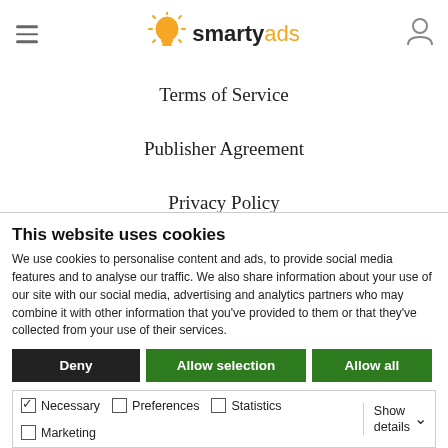smartyads
Terms of Service
Publisher Agreement
Privacy Policy
Demand Policies
CCPA Resource
This website uses cookies
We use cookies to personalise content and ads, to provide social media features and to analyse our traffic. We also share information about your use of our site with our social media, advertising and analytics partners who may combine it with other information that you've provided to them or that they've collected from your use of their services.
Deny | Allow selection | Allow all
Necessary  Preferences  Statistics  Marketing  Show details